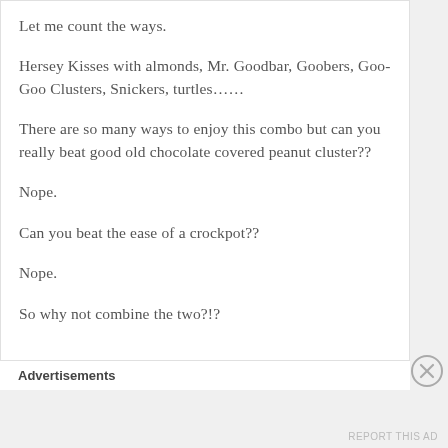Let me count the ways.
Hersey Kisses with almonds, Mr. Goodbar, Goobers, Goo-Goo Clusters, Snickers, turtles……
There are so many ways to enjoy this combo but can you really beat good old chocolate covered peanut cluster??
Nope.
Can you beat the ease of a crockpot??
Nope.
So why not combine the two?!?
Advertisements
REPORT THIS AD